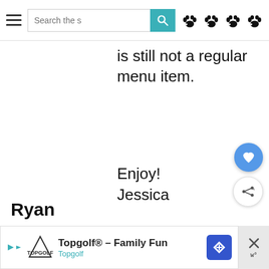Search the s [search button] [paw icons]
is still not a regular menu item.
Enjoy!
Jessica
Reply
Ryan
[Figure (screenshot): Topgolf® - Family Fun advertisement banner at the bottom of the page with Topgolf logo, navigation arrow icon, and close button]
[Figure (infographic): Floating action buttons: blue heart/favorite button and white share button on the right side]